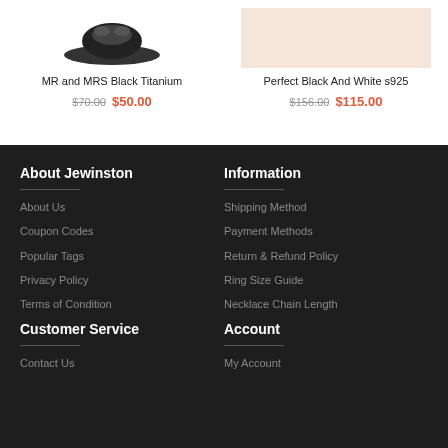MR and MRS Black Titanium
$70.00  $50.00
Perfect Black And White s925
$156.00  $115.00
About Jewinston
About Us
Coupon Codes
Popular Tags
Privacy Policy
Terms of Condition
Customer Service
Contact Us
Information
Shipping Method
Payment Methods
Return & Refund Policy
Ring Size Guide
Necklace Chain Length
Account
My Account